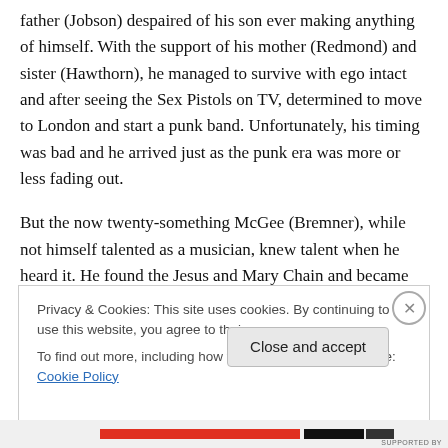father (Jobson) despaired of his son ever making anything of himself. With the support of his mother (Redmond) and sister (Hawthorn), he managed to survive with ego intact and after seeing the Sex Pistols on TV, determined to move to London and start a punk band. Unfortunately, his timing was bad and he arrived just as the punk era was more or less fading out.
But the now twenty-something McGee (Bremner), while not himself talented as a musician, knew talent when he heard it. He found the Jesus and Mary Chain and became
Privacy & Cookies: This site uses cookies. By continuing to use this website, you agree to their use.
To find out more, including how to control cookies, see here: Cookie Policy